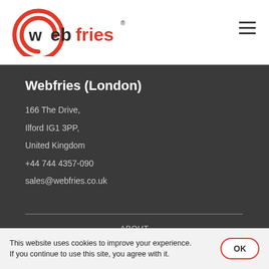[Figure (logo): Webfries logo with circular '@' style mark in red and bold text 'webfries' in dark/red]
Webfries (London)
166 The Drive,
Ilford IG1 3PP,
United Kingdom
+44 744 4357-090
sales@webfries.co.uk
ABOUT
BLOGS
This website uses cookies to improve your experience. If you continue to use this site, you agree with it.